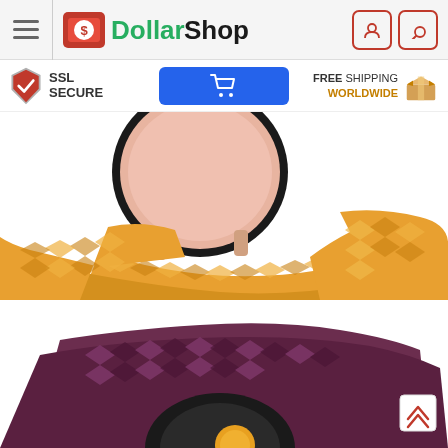[Figure (logo): DollarShop logo with red tag icon and green/dark text]
[Figure (infographic): SSL Secure badge, blue cart button, FREE SHIPPING WORLDWIDE with box icon]
[Figure (photo): Close-up of smartwatch with yellow/gold braided solo loop band]
[Figure (photo): Close-up of smartwatch with dark purple/maroon braided solo loop band]